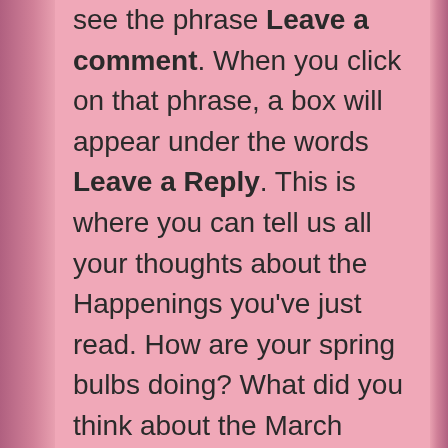see the phrase Leave a comment. When you click on that phrase, a box will appear under the words Leave a Reply. This is where you can tell us all your thoughts about the Happenings you've just read. How are your spring bulbs doing? What did you think about the March speaker? Are you interested in the Star Island trip? Curious minds want to know!
Make your Happenings editor a happy camper – leave a reply!